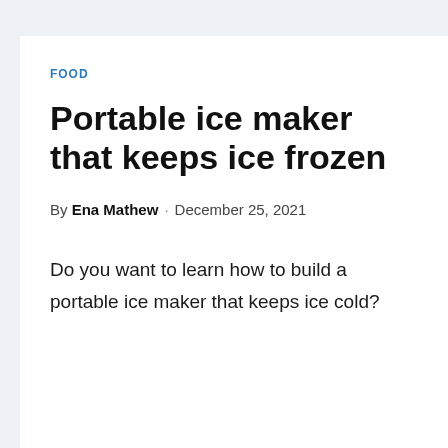FOOD
Portable ice maker that keeps ice frozen
By Ena Mathew · December 25, 2021
Do you want to learn how to build a portable ice maker that keeps ice cold?